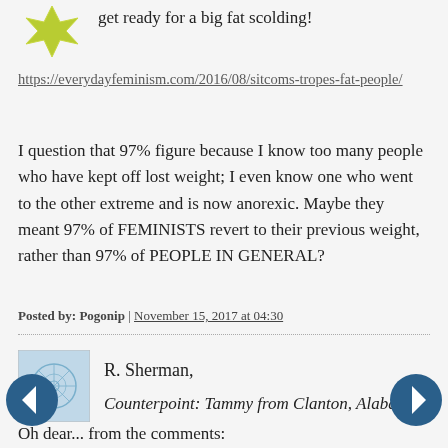[Figure (illustration): Lime green starburst/flower avatar icon]
get ready for a big fat scolding!
https://everydayfeminism.com/2016/08/sitcoms-tropes-fat-people/
I question that 97% figure because I know too many people who have kept off lost weight; I even know one who went to the other extreme and is now anorexic. Maybe they meant 97% of FEMINISTS revert to their previous weight, rather than 97% of PEOPLE IN GENERAL?
Posted by: Pogonip | November 15, 2017 at 04:30
[Figure (illustration): Light blue abstract network/web avatar icon for R. Sherman]
R. Sherman,
Counterpoint: Tammy from Clanton, Alabama.
Oh dear... from the comments:
She does a great job representing the barnies